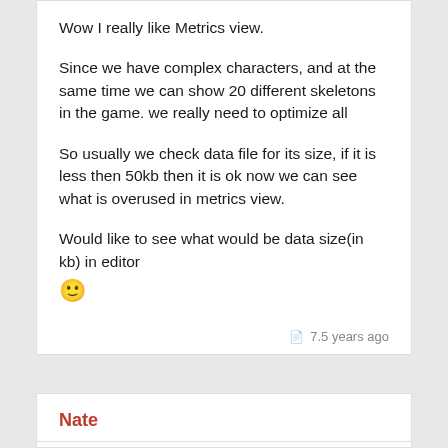Wow I really like Metrics view.
Since we have complex characters, and at the same time we can show 20 different skeletons in the game. we really need to optimize all
So usually we check data file for its size, if it is less then 50kb then it is ok now we can see what is overused in metrics view.
Would like to see what would be data size(in kb) in editor 🙂
7.5 years ago
Nate
The size of the data file doesn't affect drawing performance. The best metrics are bones, vertex transforms, timelines (all three are an indication for CPU...